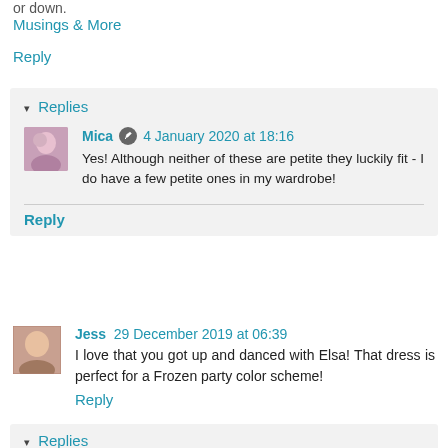or down.
Musings & More
Reply
Replies
Mica  4 January 2020 at 18:16
Yes! Although neither of these are petite they luckily fit - I do have a few petite ones in my wardrobe!
Reply
Jess  29 December 2019 at 06:39
I love that you got up and danced with Elsa! That dress is perfect for a Frozen party color scheme!
Reply
Replies